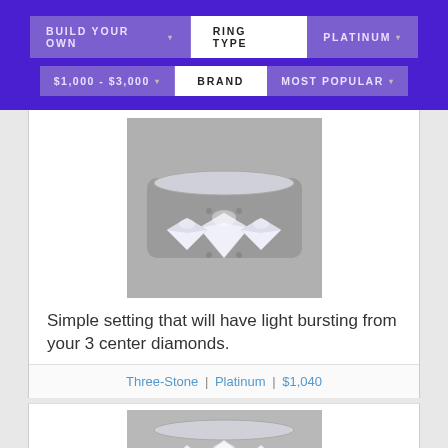BUILD YOUR OWN | RING TYPE | PLATINUM | $1,000 - $3,000 | BRAND | MOST POPULAR
[Figure (photo): Three-stone diamond platinum ring with three round brilliant diamonds in a prong setting, photographed against a gray background.]
Simple setting that will have light bursting from your 3 center diamonds.
Three-Stone | Platinum | $1,040
[Figure (photo): Second three-stone diamond platinum ring, partially visible, similar style with round diamonds in prong setting.]